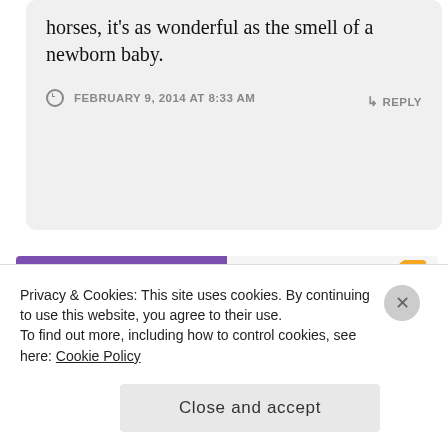horses, it's as wonderful as the smell of a newborn baby.
FEBRUARY 9, 2014 AT 8:33 AM
↳ REPLY
[Figure (screenshot): WooCommerce advertisement banner: purple left side with WooCommerce logo and green arrow shape pointing right; white right side with text 'How to start selling subscriptions online' and decorative shapes in orange, teal, blue]
REPORT THIS AD
Privacy & Cookies: This site uses cookies. By continuing to use this website, you agree to their use.
To find out more, including how to control cookies, see here: Cookie Policy
Close and accept